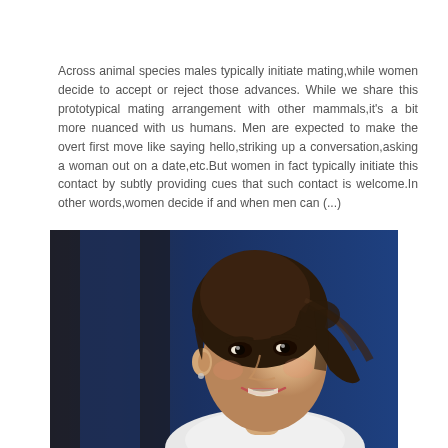Across animal species males typically initiate mating,while women decide to accept or reject those advances. While we share this prototypical mating arrangement with other mammals,it's a bit more nuanced with us humans. Men are expected to make the overt first move like saying hello,striking up a conversation,asking a woman out on a date,etc.But women in fact typically initiate this contact by subtly providing cues that such contact is welcome.In other words,women decide if and when men can (...)
[Figure (photo): Close-up photo of a young woman with brown hair pulled back, smiling, wearing a white top, with a blurred blue background.]